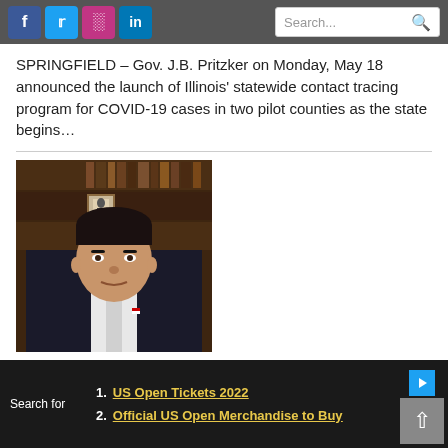Social media icons (Facebook, Twitter, Instagram, LinkedIn) and search bar
SPRINGFIELD – Gov. J.B. Pritzker on Monday, May 18 announced the launch of Illinois' statewide contact tracing program for COVID-19 cases in two pilot counties as the state begins…
[Figure (photo): Photo of Gov. J.B. Pritzker seated in front of bookshelves, wearing a dark suit and white shirt]
Pritzker warns of
Search for
1. US Open Tickets 2022
2. Official US Open Merchandise to Buy